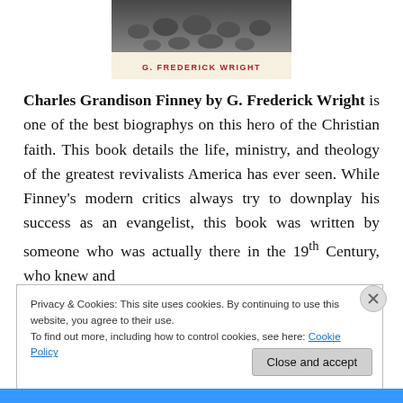[Figure (illustration): Book cover showing crowd image at top and author name 'G. FREDERICK WRIGHT' in red text on cream background]
Charles Grandison Finney by G. Frederick Wright is one of the best biographys on this hero of the Christian faith. This book details the life, ministry, and theology of the greatest revivalists America has ever seen. While Finney's modern critics always try to downplay his success as an evangelist, this book was written by someone who was actually there in the 19th Century, who knew and
Privacy & Cookies: This site uses cookies. By continuing to use this website, you agree to their use.
To find out more, including how to control cookies, see here: Cookie Policy
Close and accept